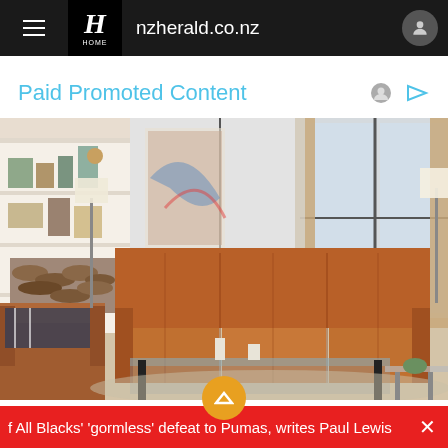nzherald.co.nz
Paid Promoted Content
[Figure (photo): Living room furniture scene featuring a brown leather sofa and armchair, glass coffee table, white bookshelf with decor, fireplace with stacked wood, large windows with beige curtains, and table lamps.]
f All Blacks' 'gormless' defeat to Pumas, writes Paul Lewis